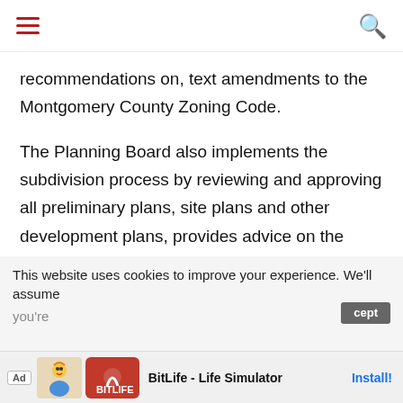Navigation bar with hamburger menu and search icon
recommendations on, text amendments to the Montgomery County Zoning Code.
The Planning Board also implements the subdivision process by reviewing and approving all preliminary plans, site plans and other development plans, provides advice on the planning implications of capital facilities and programs. In addition, the Planning Board provides comments, under its mandatory referral authority, on plans for public facilities of local, state and federal agencies and approves the work program and the annual operating budget for the Planning Department and the Commission's bi-county offices.
This website uses cookies to improve your experience. We'll assume you're ... cept
[Figure (screenshot): Ad banner for BitLife - Life Simulator mobile app with install button]